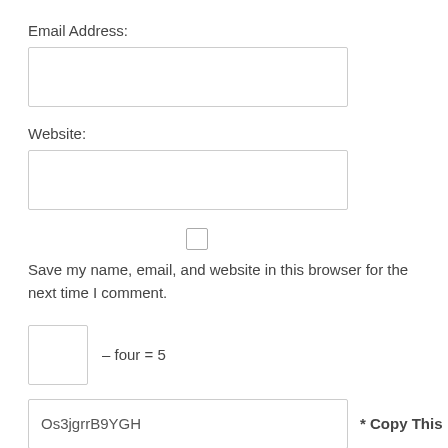Email Address:
[Figure (other): Email address input text field (empty)]
Website:
[Figure (other): Website input text field (empty)]
[Figure (other): Checkbox (unchecked)]
Save my name, email, and website in this browser for the next time I comment.
[Figure (other): CAPTCHA input box (empty) with label: – four = 5]
[Figure (other): Text field showing 'Os3jgrrB9YGH' with label '* Copy This']
Password *
[Figure (other): Password input text field (partially visible, cut off at bottom)]